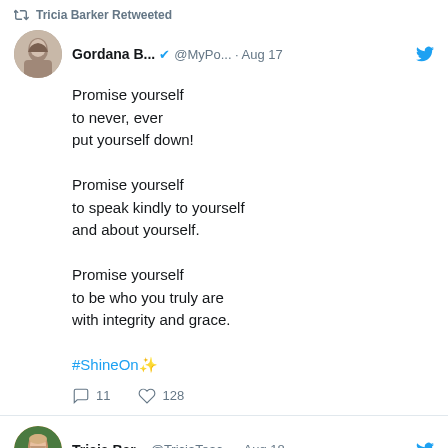Tricia Barker Retweeted
Gordana B... ✔ @MyPo... · Aug 17
Promise yourself
to never, ever
put yourself down!

Promise yourself
to speak kindly to yourself
and about yourself.

Promise yourself
to be who you truly are
with integrity and grace.

#ShineOn ✨
11   128
Tricia Bar... @TriciaTeac... · Aug 18
Love is timeless and an act of bravery. We got married the Viva Las Vegas way. Just the way I wanted. 🏩❤